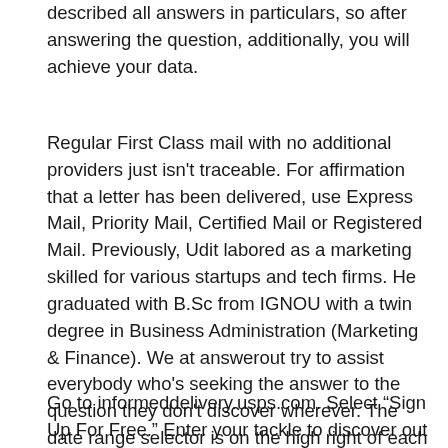described all answers in particulars, so after answering the question, additionally, you will achieve your data.
Regular First Class mail with no additional providers just isn't traceable. For affirmation that a letter has been delivered, use Express Mail, Priority Mail, Certified Mail or Registered Mail. Previously, Udit labored as a marketing skilled for various startups and tech firms. He graduated with B.Sc from IGNOU with a twin degree in Business Administration (Marketing & Finance). We at answerout try to assist everybody who's seeking the answer to the question they don't discover wherever. The date range selector is on the high right of each report except the Real-Time reports.
Go to informeddelivery.usps.com. Select “Sign Up For Free.” Enter your tackle to discover out whether it is eligible for Informed Delivery. If your address is not eligible, you should